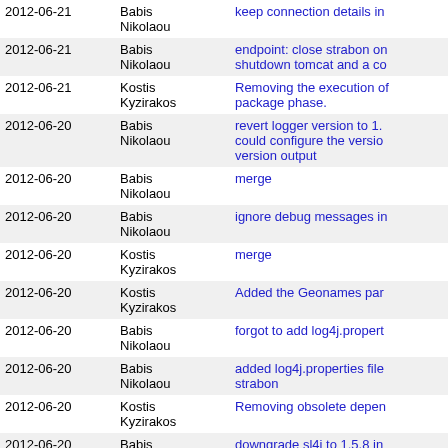| Date | Author | Message |
| --- | --- | --- |
| 2012-06-21 | Babis Nikolaou | keep connection details in |
| 2012-06-21 | Babis Nikolaou | endpoint: close strabon on shutdown tomcat and a co |
| 2012-06-21 | Kostis Kyzirakos | Removing the execution of package phase. |
| 2012-06-20 | Babis Nikolaou | revert logger version to 1. could configure the versio version output |
| 2012-06-20 | Babis Nikolaou | merge |
| 2012-06-20 | Babis Nikolaou | ignore debug messages in |
| 2012-06-20 | Kostis Kyzirakos | merge |
| 2012-06-20 | Kostis Kyzirakos | Added the Geonames par |
| 2012-06-20 | Babis Nikolaou | forgot to add log4j.propert |
| 2012-06-20 | Babis Nikolaou | added log4j.properties file strabon |
| 2012-06-20 | Kostis Kyzirakos | Removing obsolete depen |
| 2012-06-20 | Babis Nikolaou | downgrade sl4j to 1.5.8 in |
| 2012-06-19 | George | merge with 301 |